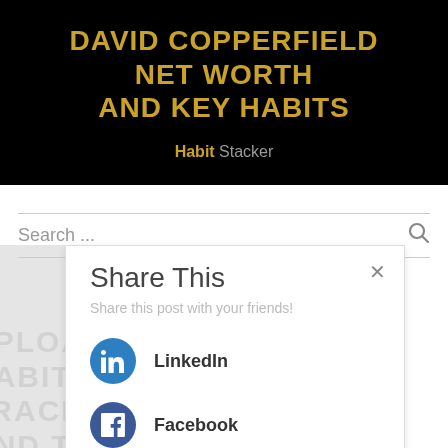[Figure (screenshot): Black banner with gold text reading 'DAVID COPPERFIELD NET WORTH AND KEY HABITS' and 'Habit Stacker' subtitle]
Search ...
Share This
Share this post with your friends!
LinkedIn
Facebook